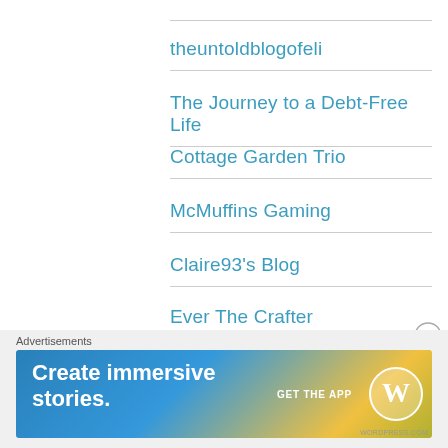theuntoldblogofeli
The Journey to a Debt-Free Life
Cottage Garden Trio
McMuffins Gaming
Claire93's Blog
Ever The Crafter
Emma's Craft Projects
Bake. Make. Take (a trip!)
Advertisements
[Figure (screenshot): WordPress app advertisement banner: 'Create immersive stories.' with 'GET THE APP' call to action and WordPress logo on a blue-to-yellow gradient background.]